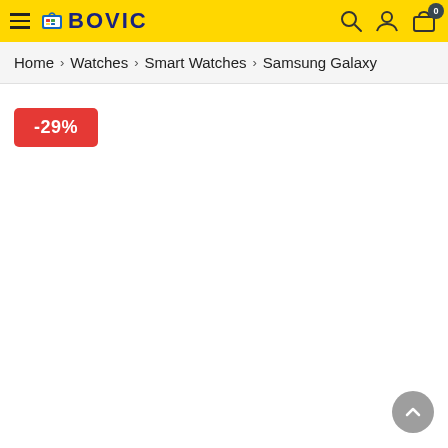BOVIC — navigation header with hamburger menu, logo, search, user, and cart icons
Home > Watches > Smart Watches > Samsung Galaxy
-29%